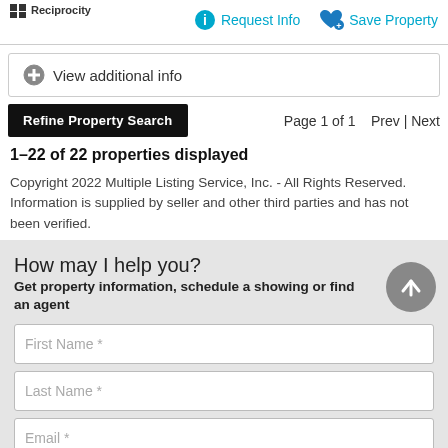[Figure (infographic): Reciprocity logo and courtesy/public MLS label at top left]
Request Info   Save Property
View additional info
Refine Property Search   Page 1 of 1   Prev | Next
1–22 of 22 properties displayed
Copyright 2022 Multiple Listing Service, Inc. - All Rights Reserved. Information is supplied by seller and other third parties and has not been verified.
How may I help you?
Get property information, schedule a showing or find an agent
First Name *
Last Name *
Email *